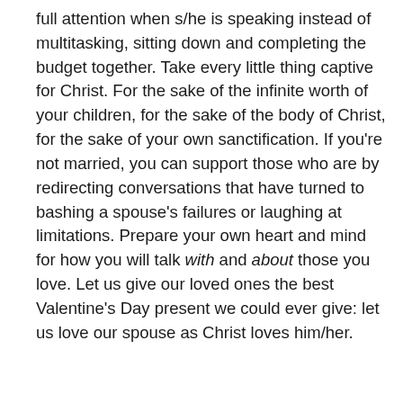full attention when s/he is speaking instead of multitasking, sitting down and completing the budget together. Take every little thing captive for Christ. For the sake of the infinite worth of your children, for the sake of the body of Christ, for the sake of your own sanctification. If you're not married, you can support those who are by redirecting conversations that have turned to bashing a spouse's failures or laughing at limitations. Prepare your own heart and mind for how you will talk with and about those you love. Let us give our loved ones the best Valentine's Day present we could ever give: let us love our spouse as Christ loves him/her.